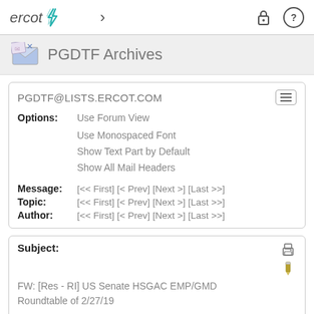ercot
PGDTF Archives
PGDTF@LISTS.ERCOT.COM
Options: Use Forum View
Use Monospaced Font
Show Text Part by Default
Show All Mail Headers
Message: [<< First] [< Prev] [Next >] [Last >>]
Topic: [<< First] [< Prev] [Next >] [Last >>]
Author: [<< First] [< Prev] [Next >] [Last >>]
Subject:
FW: [Res - RI] US Senate HSGAC EMP/GMD Roundtable of 2/27/19
From: